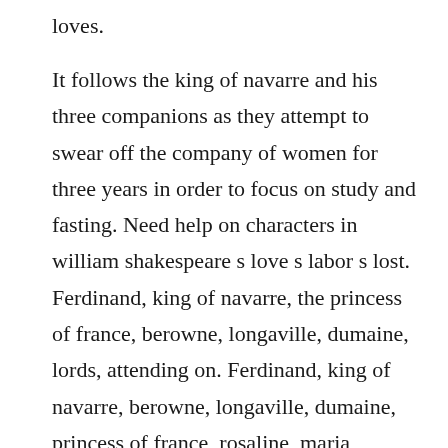loves.
It follows the king of navarre and his three companions as they attempt to swear off the company of women for three years in order to focus on study and fasting. Need help on characters in william shakespeare s love s labor s lost. Ferdinand, king of navarre, the princess of france, berowne, longaville, dumaine, lords, attending on. Ferdinand, king of navarre, berowne, longaville, dumaine, princess of france, rosaline, maria, katherine, boyet, don armado, mote, costard, jaquenetta,